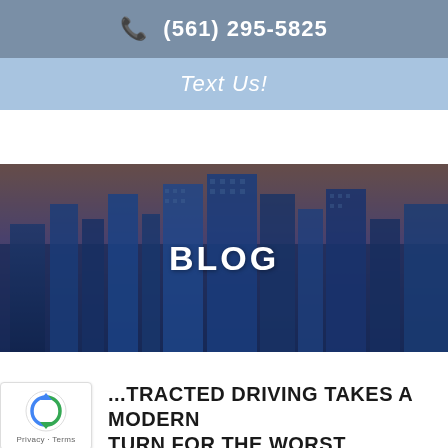📞 (561) 295-5825
Text Us!
[Figure (photo): City skyline at dusk with blue-tinted skyscrapers overlaid with a dark blue semi-transparent overlay. The word BLOG appears in large bold white uppercase letters centered on the image.]
DISTRACTED DRIVING TAKES A MODERN TURN FOR THE WORST